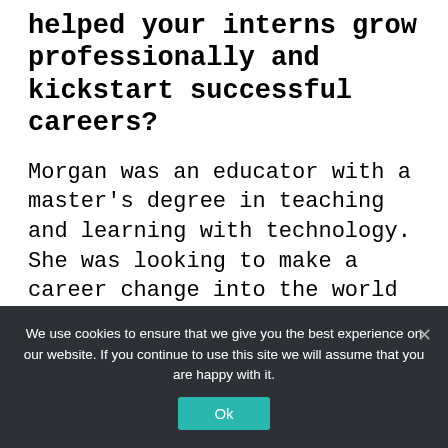helped your interns grow professionally and kickstart successful careers?
Morgan was an educator with a master's degree in teaching and learning with technology. She was looking to make a career change into the world of instructional design, but felt she was lacking some of the business knowledge and experience needed to make the leap. Her internship with Everspring allowed her to work on real projects for our partners that provided her the additional knowledge and skills she was
We use cookies to ensure that we give you the best experience on our website. If you continue to use this site we will assume that you are happy with it.